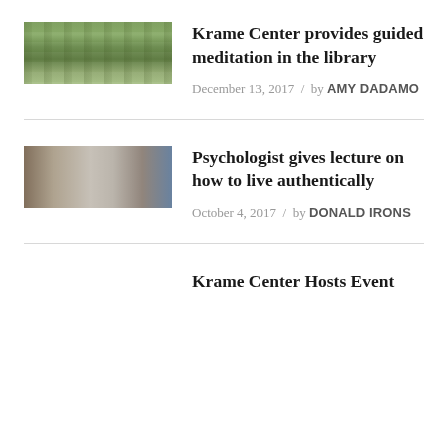[Figure (photo): Thumbnail photo of trees/nature scene, greenery]
Krame Center provides guided meditation in the library
December 13, 2017 / by AMY DADAMO
[Figure (photo): Thumbnail photo of people in a room, lecture setting with whiteboard]
Psychologist gives lecture on how to live authentically
October 4, 2017 / by DONALD IRONS
Krame Center Hosts Event